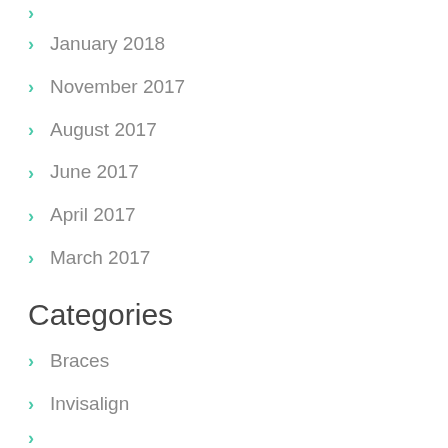January 2018
November 2017
August 2017
June 2017
April 2017
March 2017
Categories
Braces
Invisalign